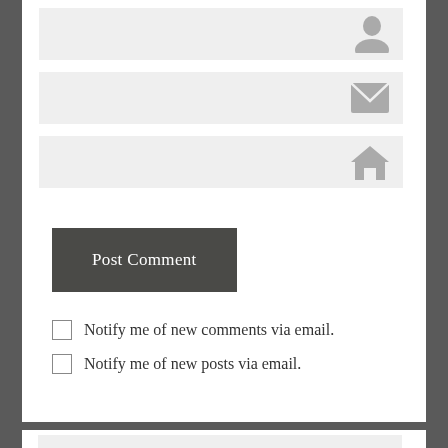[Figure (screenshot): Form input field with a user/person icon on the right side, light gray background]
[Figure (screenshot): Form input field with an envelope/email icon on the right side, light gray background]
[Figure (screenshot): Form input field with a house/home icon on the right side, light gray background]
Post Comment
Notify me of new comments via email.
Notify me of new posts via email.